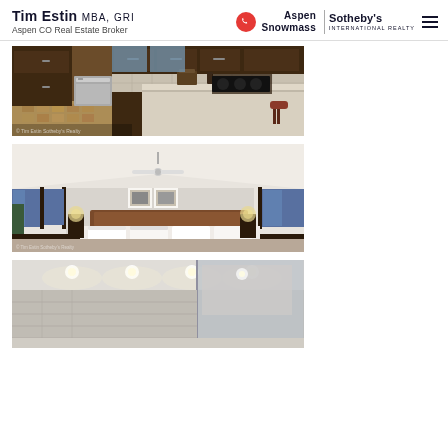Tim Estin MBA, GRI — Aspen CO Real Estate Broker — Aspen Snowmass Sotheby's International Realty
[Figure (photo): Interior kitchen photo showing dark wood cabinetry, stainless steel appliances, large kitchen island with light gray countertop, and bar stools]
[Figure (photo): Interior bedroom photo showing vaulted white ceiling with ceiling fan, large bed with white linens and wooden headboard, framed artwork, bedside lamps, dark wood trim windows with mountain views, and a teal chest at foot of bed]
[Figure (photo): Interior bathroom/room photo showing recessed ceiling lights, windows with night view, and reflective surfaces/mirrors]